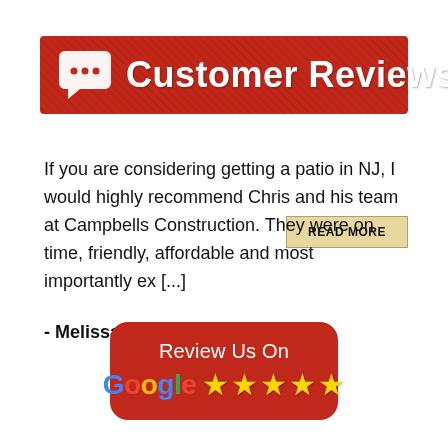Customer Reviews
If you are considering getting a patio in NJ, I would highly recommend Chris and his team at Campbells Construction. They were on time, friendly, affordable and most importantly ex [...]
- Melissa P.
[Figure (logo): Review Us On Google with 5 gold stars on red rounded rectangle background]